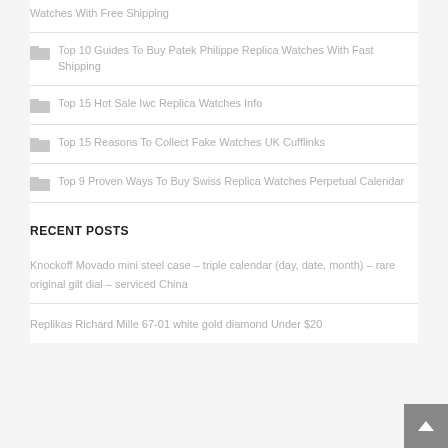Watches With Free Shipping
Top 10 Guides To Buy Patek Philippe Replica Watches With Fast Shipping
Top 15 Hot Sale Iwc Replica Watches Info
Top 15 Reasons To Collect Fake Watches UK Cufflinks
Top 9 Proven Ways To Buy Swiss Replica Watches Perpetual Calendar
RECENT POSTS
Knockoff Movado mini steel case – triple calendar (day, date, month) – rare original gilt dial – serviced China
Replikas Richard Mille 67-01 white gold diamond Under $20